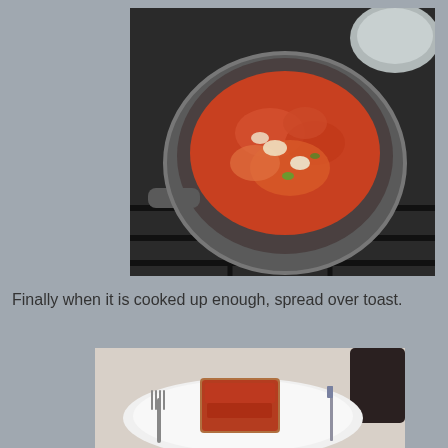[Figure (photo): A pan on a stovetop containing eggs scrambled with tomato sauce and vegetables, viewed from above. The pan is dark/grey and sits on a black gas stove grate. A silver pot is partially visible in the upper right corner.]
Finally when it is cooked up enough, spread over toast.
[Figure (photo): A white plate on a light surface with a slice of toast topped with the tomato-egg mixture. A fork is visible on the left side of the plate and a knife on the right. A dark pan is partially visible in the upper right corner.]